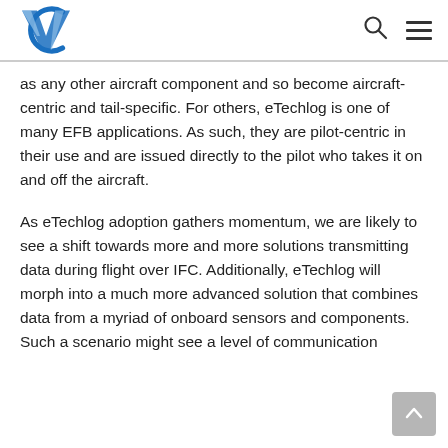VC logo, search icon, menu icon
as any other aircraft component and so become aircraft-centric and tail-specific. For others, eTechlog is one of many EFB applications. As such, they are pilot-centric in their use and are issued directly to the pilot who takes it on and off the aircraft.
As eTechlog adoption gathers momentum, we are likely to see a shift towards more and more solutions transmitting data during flight over IFC. Additionally, eTechlog will morph into a much more advanced solution that combines data from a myriad of onboard sensors and components. Such a scenario might see a level of communication